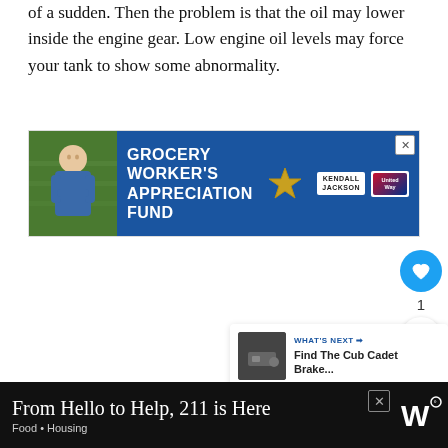of a sudden. Then the problem is that the oil may lower inside the engine gear. Low engine oil levels may force your tank to show some abnormality.
[Figure (screenshot): Advertisement banner for Grocery Worker's Appreciation Fund featuring Kendall Jackson and United Way logos, with a grocery worker photo on the left.]
[Figure (infographic): Sidebar with like button (heart icon, blue circle), count of 1, and share button.]
[Figure (screenshot): What's Next card showing 'Find The Cub Cadet Brake...' with a thumbnail image.]
[Figure (screenshot): Bottom advertisement: 'From Hello to Help, 211 is Here' with subtitle 'Food · Housing' on black background with logo.]